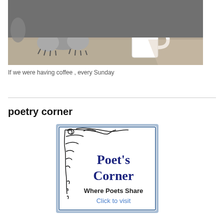[Figure (photo): Black and white photo of a dog's paws resting on a table next to a white coffee mug with liquid being poured into it]
If we were having coffee , every Sunday
poetry corner
[Figure (logo): Poet's Corner badge with decorative vine/swirl border on light blue background. Text reads: Poet's Corner, Where Poets Share, Click to visit]